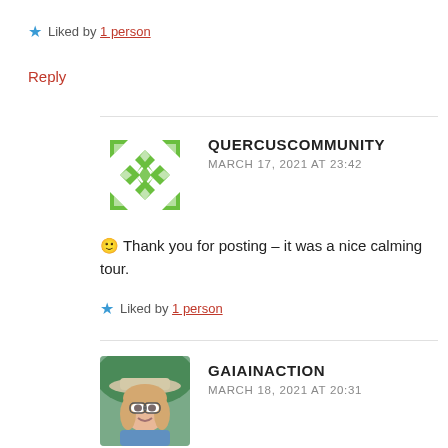★ Liked by 1 person
Reply
QUERCUSCOMMUNITY
MARCH 17, 2021 AT 23:42
🙂 Thank you for posting – it was a nice calming tour.
★ Liked by 1 person
GAIAINACTION
MARCH 18, 2021 AT 20:31